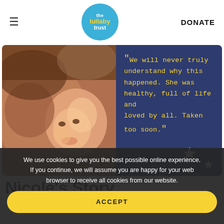≡  the lullaby trust  DONATE
[Figure (photo): Mother and smiling baby lying together, warm tones. Next to it a dark navy blue panel with a yellow quote: "We will never truly understand why this happened. She was healthy, full of life and loved by all. Taken too soon." with two white stars.]
Nicole's Story
We use cookies to give you the best possible online experience. If you continue, we will assume you are happy for your web browser to receive all cookies from our website.
ACCEPT